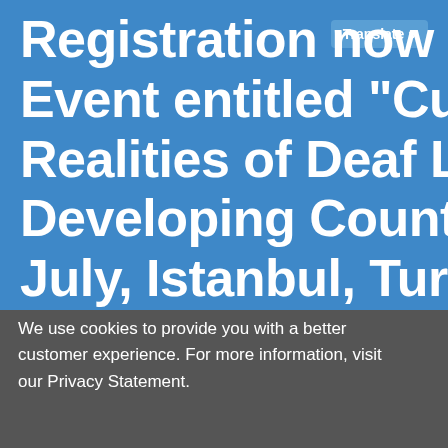Registration now for a Side-Event entitled “Current Realities of Deaf Learners in Developing Countries” (29 July, Istanbul, Turkey)
We use cookies to provide you with a better customer experience. For more information, visit our Privacy Statement.